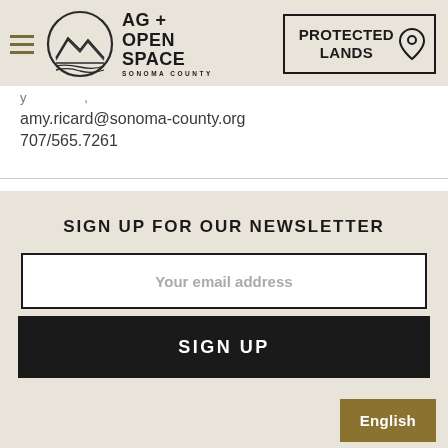AG + OPEN SPACE SONOMA COUNTY | PROTECTED LANDS
amy.ricard@sonoma-county.org
707/565.7261
SIGN UP FOR OUR NEWSLETTER
Your email address
SIGN UP
English